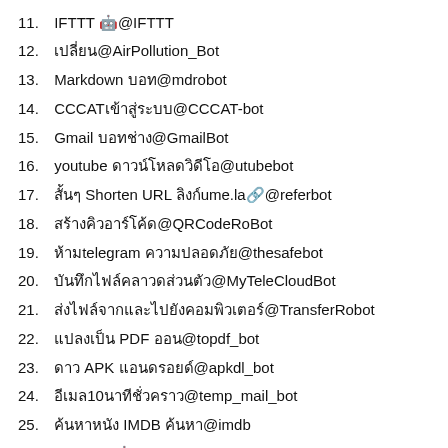11. IFTTT 🤖@IFTTT
12. เปลี่ยน@AirPollution_Bot
13. Markdown บอท@mdrobot
14. CCCATเข้าสู่@CCCAT-bot
15. Gmail บอทช่าง@GmailBot
16. youtube ดาวน์โหลดวิดีโอ@utubebot
17. สั้นๆ Shorten URL สำหรับลิงkcume.la🔗@referbot
18. สร้างคิวอาร์โค้ด@QRCodeRoBot
19. ห้ามtelegram แจ้งเตือนความปลอดภัย@thesafebot
20. บันทึกไฟล์บนคลาวด์ส่วนตัว@MyTeleCloudBot
21. ส่งไฟล์จากและไปยังคอมพิวเตอร์@TransferRobot
22. แปลงเป็น PDF ออน@topdf_bot
23. ดาว APK แอนดรอยด์@apkdl_bot
24. อีเมล10นาทีชั่วคราว@temp_mail_bot
25. ค้นหาหนัง IMDB ค้นหา@imdb
26. Botfather🤖@BotFather
27. บล็อก spam โฆษณาเกาหลี@SpamBot
28. บันทึก instagram & bot🤳@Instasave_bot
29. ดาว AliExpress สินค้า@my_ali_bot